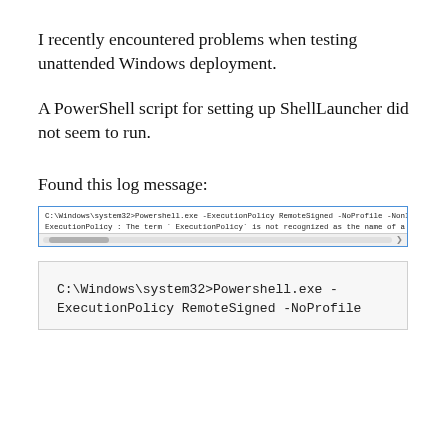I recently encountered problems when testing unattended Windows deployment.
A PowerShell script for setting up ShellLauncher did not seem to run.
Found this log message:
[Figure (screenshot): Terminal/command window screenshot showing: C:\Windows\system32>Powershell.exe -ExecutionPolicy RemoteSigned -NoProfile -NonInteractive  and error: ExecutionPolicy : The term 'ExecutionPolicy' is not recognized as the name of a cmdlet, f  with a horizontal scrollbar below.]
C:\Windows\system32>Powershell.exe -ExecutionPolicy RemoteSigned -NoProfile